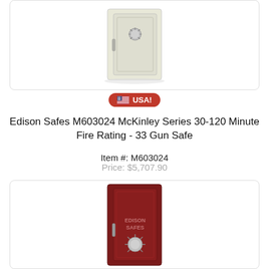[Figure (photo): A light cream/off-white gun safe with silver dial and handle, shown at slight angle]
[Figure (logo): USA badge/pill shape in red with American flag emoji and text USA!]
Edison Safes M603024 McKinley Series 30-120 Minute Fire Rating - 33 Gun Safe
Item #: M603024
Price: $5,707.90
[Figure (photo): A dark burgundy/maroon gun safe with Edison Safes logo on door and silver combination lock dial]